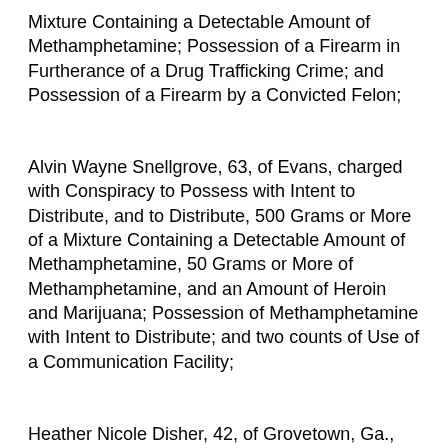Mixture Containing a Detectable Amount of Methamphetamine; Possession of a Firearm in Furtherance of a Drug Trafficking Crime; and Possession of a Firearm by a Convicted Felon;
Alvin Wayne Snellgrove, 63, of Evans, charged with Conspiracy to Possess with Intent to Distribute, and to Distribute, 500 Grams or More of a Mixture Containing a Detectable Amount of Methamphetamine, 50 Grams or More of Methamphetamine, and an Amount of Heroin and Marijuana; Possession of Methamphetamine with Intent to Distribute; and two counts of Use of a Communication Facility;
Heather Nicole Disher, 42, of Grovetown, Ga., charged with Conspiracy to Possess with Intent to Distribute, and to Distribute, 500 Grams or More of a Mixture